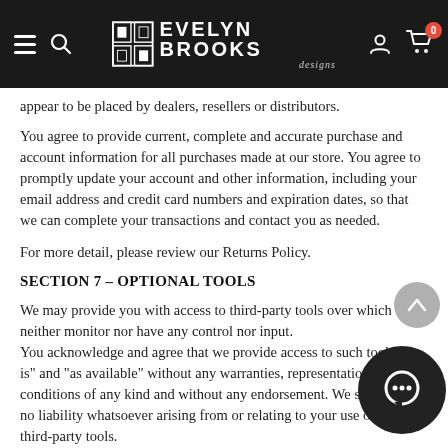Evelyn Brooks Designs — Navigation bar
appear to be placed by dealers, resellers or distributors.
You agree to provide current, complete and accurate purchase and account information for all purchases made at our store. You agree to promptly update your account and other information, including your email address and credit card numbers and expiration dates, so that we can complete your transactions and contact you as needed.
For more detail, please review our Returns Policy.
SECTION 7 – OPTIONAL TOOLS
We may provide you with access to third-party tools over which we neither monitor nor have any control nor input.
You acknowledge and agree that we provide access to such tools "as is" and "as available" without any warranties, representations conditions of any kind and without any endorsement. We shall have no liability whatsoever arising from or relating to your use of optional third-party tools.
Any use by you of optional tools offered through the site is entirely at your own risk and discretion and you should ensure that you are